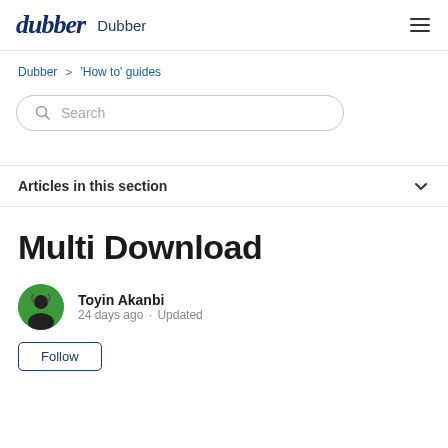dubber  Dubber
Dubber > 'How to' guides
Search
Articles in this section
Multi Download
Toyin Akanbi
24 days ago · Updated
Follow